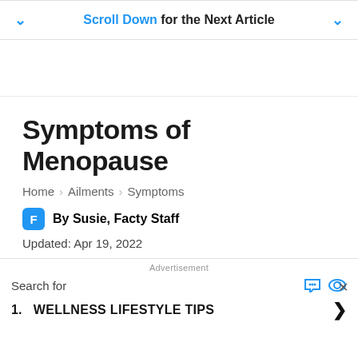Scroll Down for the Next Article
Symptoms of Menopause
Home > Ailments > Symptoms
By Susie, Facty Staff
Updated: Apr 19, 2022
Advertisement
Search for
1. WELLNESS LIFESTYLE TIPS